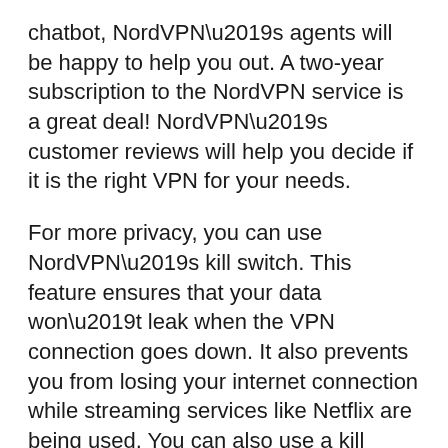chatbot, NordVPN’s agents will be happy to help you out. A two-year subscription to the NordVPN service is a great deal! NordVPN’s customer reviews will help you decide if it is the right VPN for your needs.
For more privacy, you can use NordVPN’s kill switch. This feature ensures that your data won’t leak when the VPN connection goes down. It also prevents you from losing your internet connection while streaming services like Netflix are being used. You can also use a kill switch to protect specific apps from being blocked. This feature can help protect your privacy in an emergency situation, but it’s best to have your kill button enabled to protect you privacy.